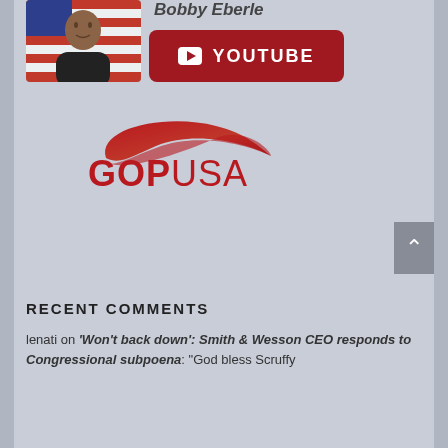[Figure (photo): Profile photo of Bobby Eberle, a man smiling in front of an American flag]
Bobby Eberle
[Figure (logo): YouTube button: red rounded rectangle with YouTube play icon and text YOUTUBE]
[Figure (logo): GOPUSA logo: red swoosh/wing shape above bold red text GOPUSA]
[Figure (other): Scroll-to-top button: gray square with upward caret arrow]
RECENT COMMENTS
lenati on 'Won't back down': Smith & Wesson CEO responds to Congressional subpoena: "God bless Scruffy